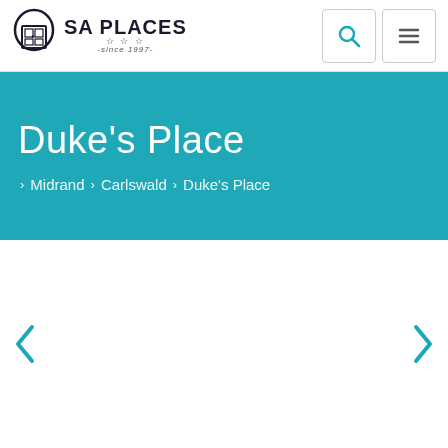[Figure (logo): SA Places logo with door icon, stars, and 'since 1997' text]
Duke's Place
Midrand › Carlswald › Duke's Place
[Figure (other): Image carousel area with left and right navigation arrows, image area is blank/white]